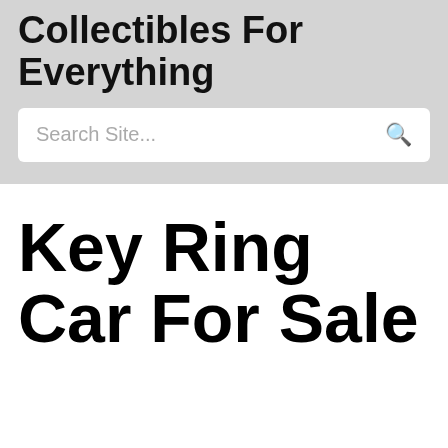Collectibles For Everything
Search Site...
Key Ring Car For Sale